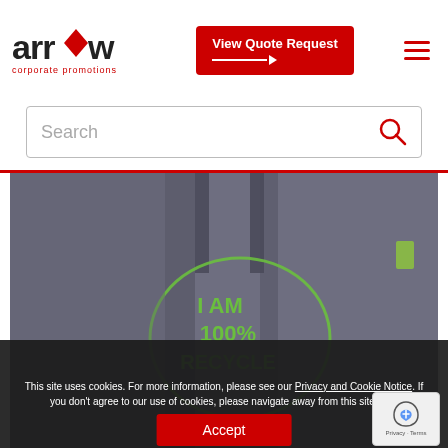[Figure (logo): Arrow corporate promotions logo with arrow diamond icon]
[Figure (other): Red 'View Quote Request' button with arrow]
[Figure (other): Red hamburger menu icon]
[Figure (other): Search bar with magnifying glass icon]
[Figure (photo): Grey tote bag with green recycled text logo reading 'I AM 100% RECYCLE']
This site uses cookies. For more information, please see our Privacy and Cookie Notice. If you don't agree to our use of cookies, please navigate away from this site now.
Accept